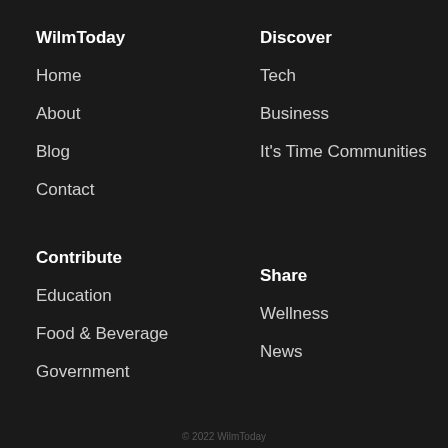WilmToday
Discover
Home
Tech
About
Business
Blog
It's Time Communities
Contact
Contribute
Share
Education
Wellness
Food & Beverage
News
Government
© 2022 WilmToday